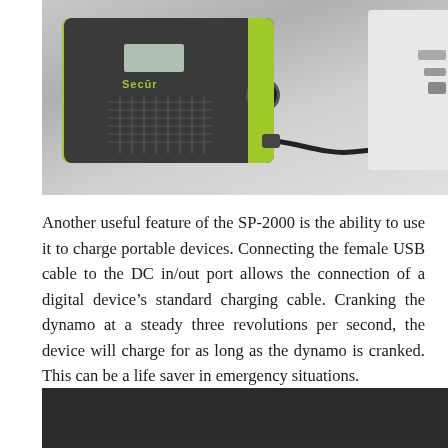[Figure (photo): Photo of a Secur SP-2000 emergency radio/charger device with yellow-green accents connected via cable to the side of a white laptop computer, on a gray background.]
Another useful feature of the SP-2000 is the ability to use it to charge portable devices. Connecting the female USB cable to the DC in/out port allows the connection of a digital deviceâ€™s standard charging cable. Cranking the dynamo at a steady three revolutions per second, the device will charge for as long as the dynamo is cranked. This can be a life saver in emergency situations.
[Figure (photo): Partial photo showing a dark background, appears to be the bottom portion of another product image cropped at page edge.]